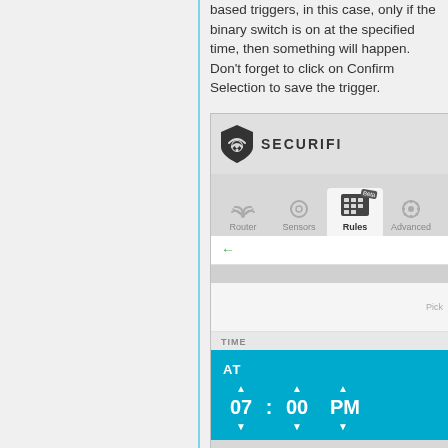based triggers, in this case, only if the binary switch is on at the specified time, then something will happen. Don't forget to click on Confirm Selection to save the trigger.
[Figure (screenshot): Securifi router app screenshot showing Rules tab selected with a time picker set to 07:00 PM, with Router, Sensors, Rules (active, beta), and Advanced tabs visible, and a TIME section with AT 07 : 00 PM shown in a blue panel with up/down arrows.]